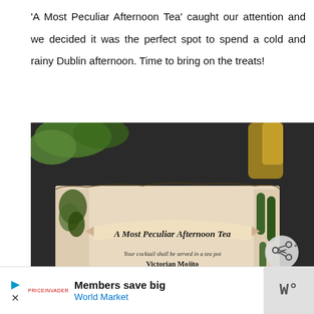'A Most Peculiar Afternoon Tea' caught our attention and we decided it was the perfect spot to spend a cold and rainy Dublin afternoon. Time to bring on the treats!
[Figure (photo): Photo of a menu card titled 'A Most Peculiar Afternoon Tea' with decorative floral border. The card reads: 'Your cocktail shall be served in a tea pot. Victorian Mojito. A ripping good version of the Caribbean institution. Hendrick's gin, mint, lime and freshly pressed churned apple juice. Absolutely spiffing.' A share button overlay and a 'What's Next' card showing '11 Goonies Filming...' are visible on the right side.]
Members save big World Market